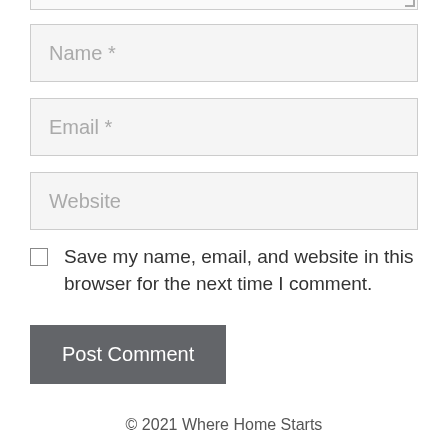[Figure (screenshot): Web comment form showing textarea bottom stub with resize handle, Name field, Email field, Website field, save checkbox, and Post Comment button]
Name *
Email *
Website
Save my name, email, and website in this browser for the next time I comment.
Post Comment
© 2021 Where Home Starts